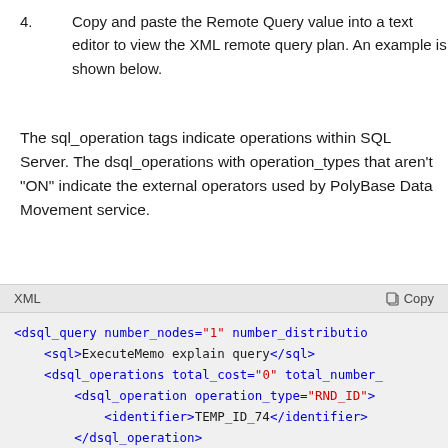4. Copy and paste the Remote Query value into a text editor to view the XML remote query plan. An example is shown below.
The sql_operation tags indicate operations within SQL Server. The dsql_operations with operation_types that aren't "ON" indicate the external operators used by PolyBase Data Movement service.
[Figure (screenshot): XML code block with toolbar showing 'XML' label and 'Copy' button. Content shows an XML snippet with dsql_query, sql, dsql_operations, dsql_operation elements in blue and red syntax-highlighted monospace font.]